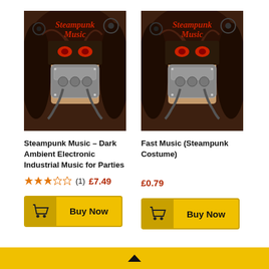[Figure (illustration): Album cover for Steampunk Music - Dark Ambient Electronic Industrial Music for Parties, showing a masked figure with red eyes and text 'Steampunk Music' in red]
[Figure (illustration): Album cover for Fast Music (Steampunk Costume), same image as the first - masked figure with red eyes and text 'Steampunk Music' in red]
Steampunk Music – Dark Ambient Electronic Industrial Music for Parties
Fast Music (Steampunk Costume)
★★½☆☆ (1) £7.49
£0.79
Buy Now
Buy Now
▲